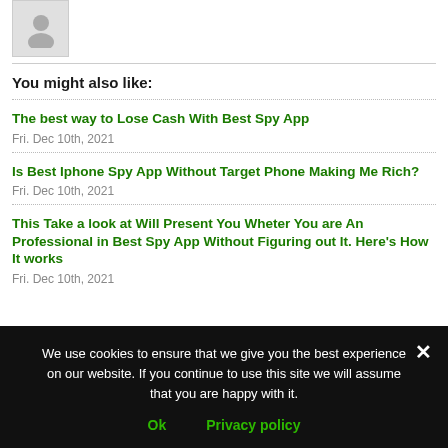[Figure (illustration): User avatar placeholder icon — grey silhouette of a person on light grey background, inside a light grey bordered box]
You might also like:
The best way to Lose Cash With Best Spy App
Fri. Dec 10th, 2021
Is Best Iphone Spy App Without Target Phone Making Me Rich?
Fri. Dec 10th, 2021
This Take a look at Will Present You Wheter You are An Professional in Best Spy App Without Figuring out It. Here's How It works
Fri. Dec 10th, 2021
We use cookies to ensure that we give you the best experience on our website. If you continue to use this site we will assume that you are happy with it.
Ok   Privacy policy